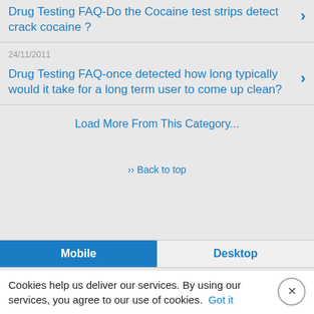Drug Testing FAQ-Do the Cocaine test strips detect crack cocaine ?
24/11/2011
Drug Testing FAQ-once detected how long typically would it take for a long term user to come up clean?
Load More From This Category...
↑ Back to top
Mobile  Desktop
Cookies help us deliver our services. By using our services, you agree to our use of cookies.  Got it